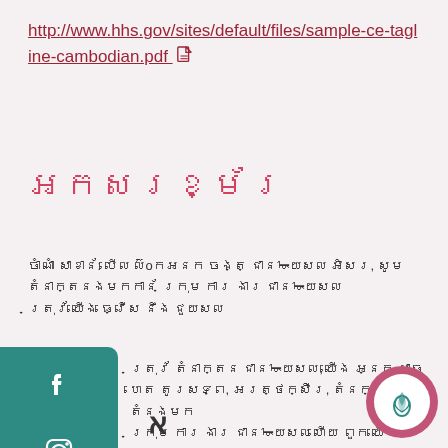http://www.hhs.gov/sites/default/files/sample-ce-tagline-cambodian.pdf [pdf icon]
ភាសាខ្មែរ
ចំណាំ សំខាន់: បើ លោកអ្នក ចង់ទទួល ជំនួយ ឥតគិតថ្លៃ, សូម ទំនាក់ទំនង មកកាន់ ក្រុម ការងារ ជំនួយ
[Figure (screenshot): Social media sidebar with Facebook, Instagram, phone, and calendar icons on a teal/dark cyan background]
ដើម្បី ទទួលបាន ជំនួយ ការ, អ្នក អាច ហៅ ទូរស័ព្ទ, ឬ ផ្ញើ អ៊ីម៉ែល, ទំនក់ ទំនងមក
ក្រុម ការងារ ជំនួយ ហើយ ពួក យើង នឹង ជួយ
[Figure (logo): Pink/mauve circular logo with white inner circle containing a teal lotus/leaf icon]
א